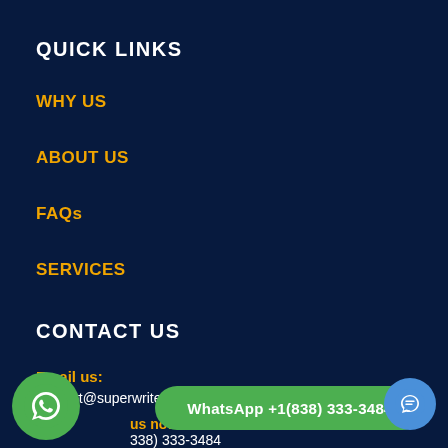QUICK LINKS
WHY US
ABOUT US
FAQs
SERVICES
CONTACT US
Email us:
support@superwriters.net
WhatsApp +1(838) 333-3484